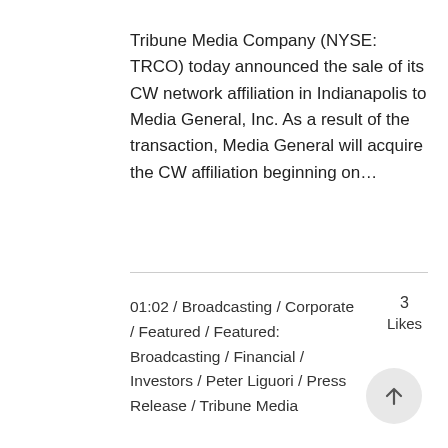Tribune Media Company (NYSE: TRCO) today announced the sale of its CW network affiliation in Indianapolis to Media General, Inc. As a result of the transaction, Media General will acquire the CW affiliation beginning on...
01:02 / Broadcasting / Corporate / Featured / Featured: Broadcasting / Financial / Investors / Peter Liguori / Press Release / Tribune Media
3 Likes